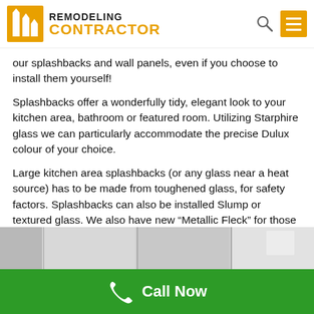REMODELING CONTRACTOR
our splashbacks and wall panels, even if you choose to install them yourself!
Splashbacks offer a wonderfully tidy, elegant look to your kitchen area, bathroom or featured room. Utilizing Starphire glass we can particularly accommodate the precise Dulux colour of your choice.
Large kitchen area splashbacks (or any glass near a heat source) has to be made from toughened glass, for safety factors. Splashbacks can also be installed Slump or textured glass. We also have new “Metallic Fleck” for those wanting to make more of a statement.
[Figure (photo): Partial view of a glass splashback installation in a kitchen, grey tones]
Call Now